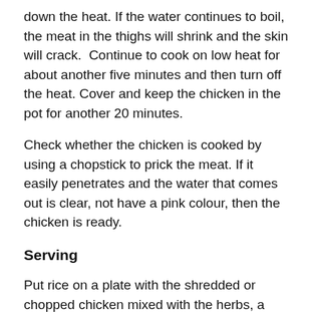down the heat. If the water continues to boil, the meat in the thighs will shrink and the skin will crack.  Continue to cook on low heat for about another five minutes and then turn off the heat. Cover and keep the chicken in the pot for another 20 minutes.
Check whether the chicken is cooked by using a chopstick to prick the meat. If it easily penetrates and the water that comes out is clear, not have a pink colour, then the chicken is ready.
Serving
Put rice on a plate with the shredded or chopped chicken mixed with the herbs, a little salt and lemon juice.
Add shredded papaya and carrot mixed with a little soy